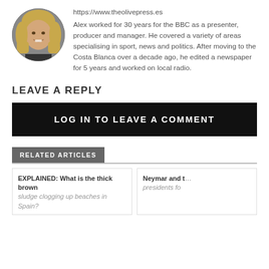[Figure (photo): Circular portrait photo of a smiling man with long blond hair]
https://www.theolivepress.es
Alex worked for 30 years for the BBC as a presenter, producer and manager. He covered a variety of areas specialising in sport, news and politics. After moving to the Costa Blanca over a decade ago, he edited a newspaper for 5 years and worked on local radio.
LEAVE A REPLY
LOG IN TO LEAVE A COMMENT
RELATED ARTICLES
EXPLAINED: What is the thick brown sludge clogging up beaches in Spain?
Neymar and t presidents fo